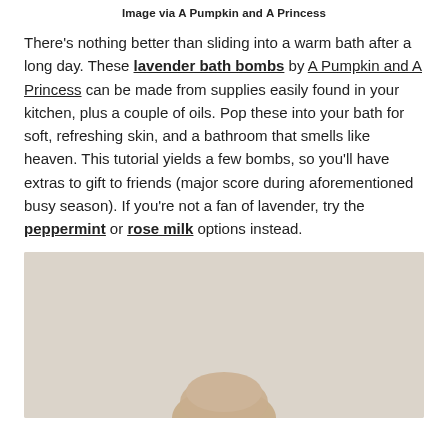Image via A Pumpkin and A Princess
There’s nothing better than sliding into a warm bath after a long day. These lavender bath bombs by A Pumpkin and A Princess can be made from supplies easily found in your kitchen, plus a couple of oils. Pop these into your bath for soft, refreshing skin, and a bathroom that smells like heaven. This tutorial yields a few bombs, so you’ll have extras to gift to friends (major score during aforementioned busy season). If you’re not a fan of lavender, try the peppermint or rose milk options instead.
[Figure (photo): Photo of lavender bath bombs on a light beige/tan background, partially cropped at bottom of page]